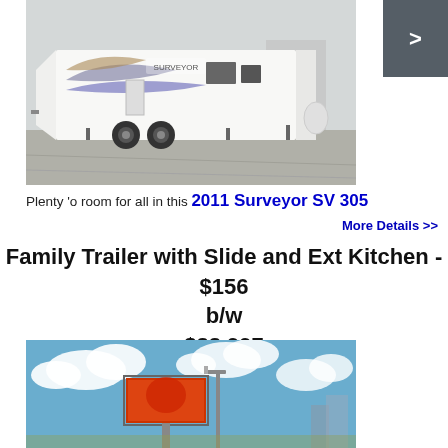[Figure (photo): White 2011 Surveyor SV 305 travel trailer parked in a lot, side view showing slide-out and dual axles]
Plenty 'o room for all in this 2011 Surveyor SV 305
More Details >>
Family Trailer with Slide and Ext Kitchen - $156 b/w
$33,997
[Figure (photo): Billboard advertising sign against a blue sky with clouds, near a street light]